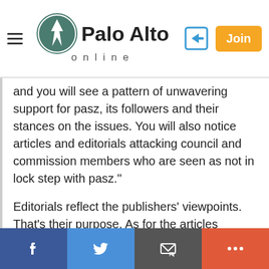Palo Alto online
and you will see a pattern of unwavering support for pasz, its followers and their stances on the issues. You will also notice articles and editorials attacking council and commission members who are seen as not in lock step with pasz."
Editorials reflect the publishers' viewpoints. That's their purpose. As for the articles showing "unwavering support: for pasz and the followers and their stances," is it possible people simply hate the traffic and congestion?? Bug difference there.
"The weekly like the NRA, is crying poverty, hence the attempt to force people to pay for their "news"."
No question about newspapers are hurting and
Facebook Twitter Email More